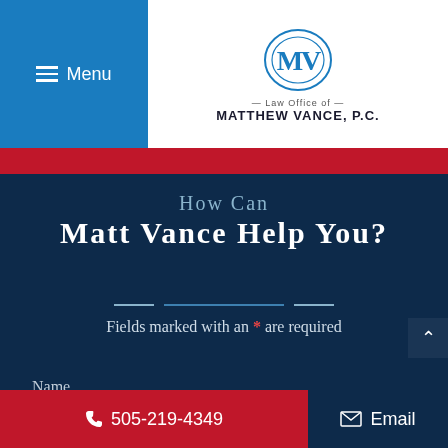[Figure (logo): Law Office of Matthew Vance, P.C. logo with stylized M V monogram]
Menu
How Can Matt Vance Help You?
Fields marked with an * are required
Name
505-219-4349  Email